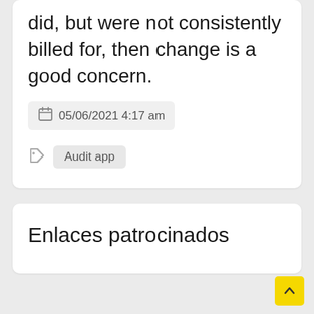did, but were not consistently billed for, then change is a good concern.
05/06/2021 4:17 am
Audit app
Enlaces patrocinados